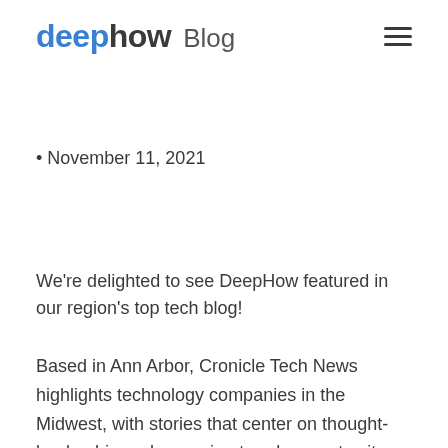deephow Blog
• November 11, 2021
We're delighted to see DeepHow featured in our region's top tech blog!
Based in Ann Arbor, Cronicle Tech News highlights technology companies in the Midwest, with stories that center on thought-leadership and emerging trends, event write-ups, networking opportunities,